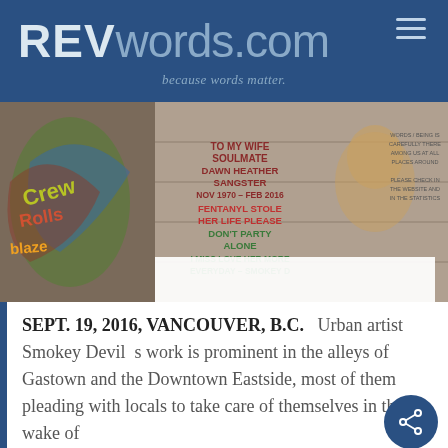REVwords.com — because words matter.
[Figure (photo): Graffiti wall with handwritten text reading: TO MY WIFE SOULMATE DAWN HEATHER SANGSTER NOV 1970 – FEB 2016 FENTANYL STOLE HER LIFE PLEASE DON'T PARTY ALONE I MISS LOVE HER MORE EVERYDAY – SMOKEY D. Colorful street art visible on the left side.]
SEPT. 19, 2016, VANCOUVER, B.C.   Urban artist Smokey Devil  s work is prominent in the alleys of Gastown and the Downtown Eastside, most of them pleading with locals to take care of themselves in the wake of